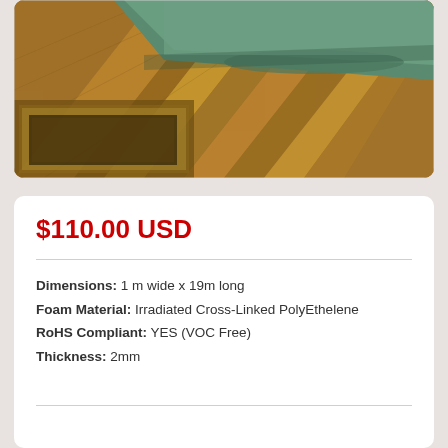[Figure (photo): Close-up photo of laminate or vinyl flooring planks being installed, with a green/teal underlayment mat partially unrolled on top of the wood-effect floor boards. The planks have a warm brown wood grain appearance.]
$110.00 USD
Dimensions: 1 m wide x 19m long
Foam Material: Irradiated Cross-Linked PolyEthelene
RoHS Compliant: YES (VOC Free)
Thickness: 2mm